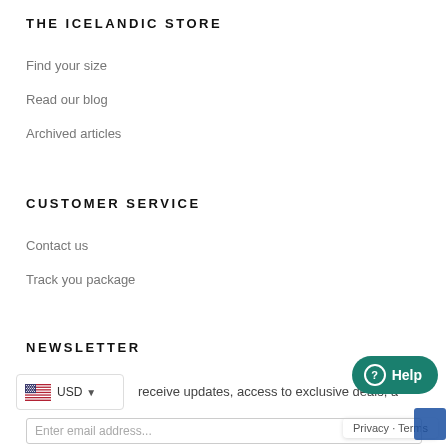THE ICELANDIC STORE
Find your size
Read our blog
Archived articles
CUSTOMER SERVICE
Contact us
Track you package
NEWSLETTER
receive updates, access to exclusive deals, a...